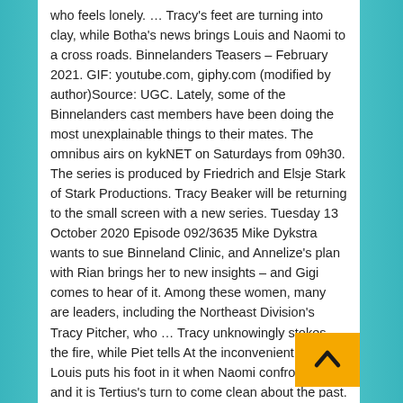who feels lonely. … Tracy's feet are turning into clay, while Botha's news brings Louis and Naomi to a crossroads. Binnelanders Teasers – February 2021. GIF: youtube.com, giphy.com (modified by author)Source: UGC. Lately, some of the Binnelanders cast members have been doing the most unexplainable things to their mates. The omnibus airs on kykNET on Saturdays from 09h30. The series is produced by Friedrich and Elsje Stark of Stark Productions. Tracy Beaker will be returning to the small screen with a new series. Tuesday 13 October 2020 Episode 092/3635 Mike Dykstra wants to sue Binneland Clinic, and Annelize's plan with Rian brings her to new insights – and Gigi comes to hear of it. Among these women, many are leaders, including the Northeast Division's Tracy Pitcher, who … Tracy unknowingly stokes the fire, while Piet tells At the inconvenient truth. Louis puts his foot in it when Naomi confronts him, and it is Tertius's turn to come clean about the past. Naomi convinces Louis that she is okay by playing open cards with him, and Wessel Mouto focuses on his mission. A trap for Jacques is set, w Tertius is not the only one that is unhappy with Stefan